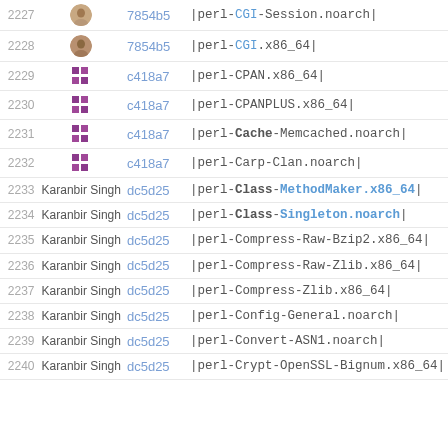| # | avatar | hash | package |
| --- | --- | --- | --- |
| 2227 | [face] | 7854b5 | |perl-CGI-Session.noarch| |
| 2228 | [face] | 7854b5 | |perl-CGI.x86_64| |
| 2229 | [icon] | c418a7 | |perl-CPAN.x86_64| |
| 2230 | [icon] | c418a7 | |perl-CPANPLUS.x86_64| |
| 2231 | [icon] | c418a7 | |perl-Cache-Memcached.noarch| |
| 2232 | [icon] | c418a7 | |perl-Carp-Clan.noarch| |
| 2233 | Karanbir Singh | dc5d25 | |perl-Class-MethodMaker.x86_64| |
| 2234 | Karanbir Singh | dc5d25 | |perl-Class-Singleton.noarch| |
| 2235 | Karanbir Singh | dc5d25 | |perl-Compress-Raw-Bzip2.x86_64| |
| 2236 | Karanbir Singh | dc5d25 | |perl-Compress-Raw-Zlib.x86_64| |
| 2237 | Karanbir Singh | dc5d25 | |perl-Compress-Zlib.x86_64| |
| 2238 | Karanbir Singh | dc5d25 | |perl-Config-General.noarch| |
| 2239 | Karanbir Singh | dc5d25 | |perl-Convert-ASN1.noarch| |
| 2240 | Karanbir Singh | dc5d25 | |perl-Crypt-OpenSSL-Bignum.x86_64| |